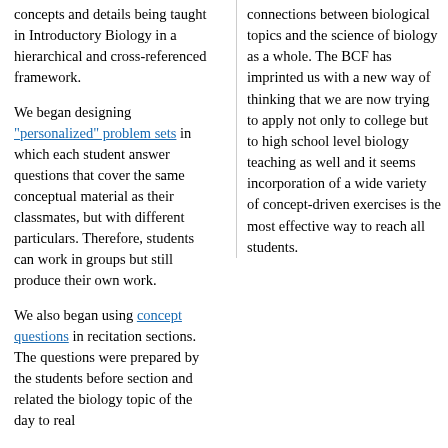concepts and details being taught in Introductory Biology in a hierarchical and cross-referenced framework.
We began designing "personalized" problem sets in which each student answer questions that cover the same conceptual material as their classmates, but with different particulars. Therefore, students can work in groups but still produce their own work.
We also began using concept questions in recitation sections. The questions were prepared by the students before section and related the biology topic of the day to real
connections between biological topics and the science of biology as a whole. The BCF has imprinted us with a new way of thinking that we are now trying to apply not only to college but to high school level biology teaching as well and it seems incorporation of a wide variety of concept-driven exercises is the most effective way to reach all students.